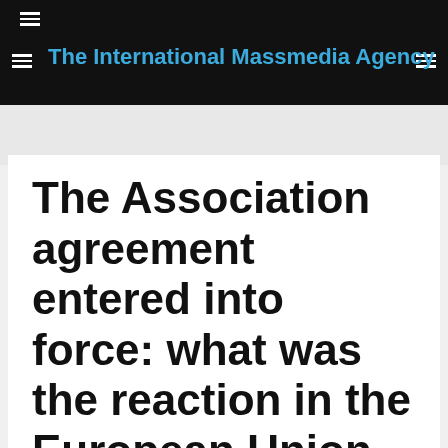The International Massmedia Agency
The Association agreement entered into force: what was the reaction in the European Union
SEPTEMBER 1, 2017  IMM  POLITICS